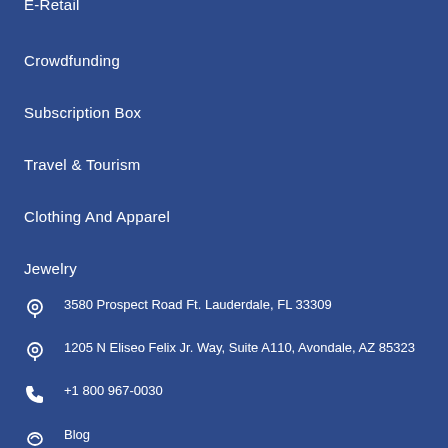E-Retail
Crowdfunding
Subscription Box
Travel & Tourism
Clothing And Apparel
Jewelry
3580 Prospect Road Ft. Lauderdale, FL 33309
1205 N Eliseo Felix Jr. Way, Suite A110, Avondale, AZ 85323
+1 800 967-0030
Blog
Jobs